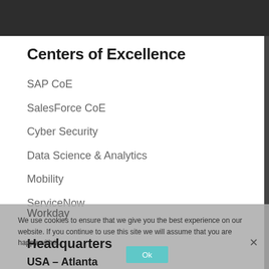Centers of Excellence
SAP CoE
SalesForce CoE
Cyber Security
Data Science & Analytics
Mobility
ServiceNow
Workday
Headquarters
We use cookies to ensure that we give you the best experience on our website. If you continue to use this site we will assume that you are happy with it.
USA – Atlanta